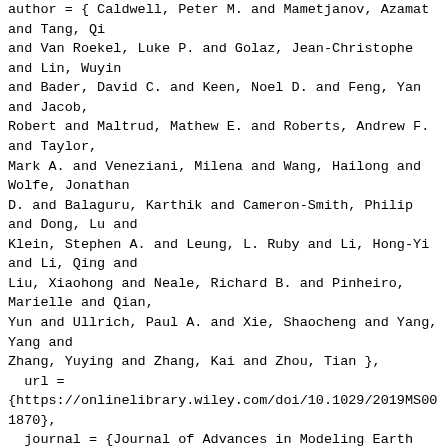author = { Caldwell, Peter M. and Mametjanov, Azamat and Tang, Qi and Van Roekel, Luke P. and Golaz, Jean-Christophe and Lin, Wuyin and Bader, David C. and Keen, Noel D. and Feng, Yan and Jacob, Robert and Maltrud, Mathew E. and Roberts, Andrew F. and Taylor, Mark A. and Veneziani, Milena and Wang, Hailong and Wolfe, Jonathan D. and Balaguru, Karthik and Cameron-Smith, Philip and Dong, Lu and Klein, Stephen A. and Leung, L. Ruby and Li, Hong-Yi and Li, Qing and Liu, Xiaohong and Neale, Richard B. and Pinheiro, Marielle and Qian, Yun and Ullrich, Paul A. and Xie, Shaocheng and Yang, Yang and Zhang, Yuying and Zhang, Kai and Zhou, Tian },
  url = {https://onlinelibrary.wiley.com/doi/10.1029/2019MS001870},
  journal = {Journal of Advances in Modeling Earth Systems},
  volume = {11},
  pages = {4095-4146},
},
@article{Rugenstein
  title = {LongRunMIP: Motivation and Design for a Large Collection of Millennial-Length AOGCM Simulations},
  author = { Rugenstein, Maria and Bloch-Johnson, Jonah and Abe-Ouchi, Ayako and Andrews, Timothy and Beyerle, Urs and Cao, Long and Chadha, Tarun and Danabasoglu, Gokhan and Dufresne, Jean-Louis and Duan, Lei and Foujols, Marie-Alice and Frölicher, Thomas and Geoffroy, Olivier and Gregory, Jonathan and Knutti, Reto and Li,